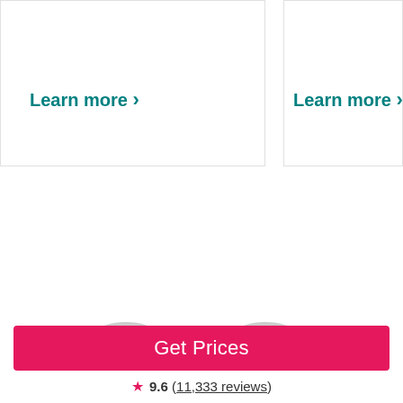Learn more >
Learn more >
Get Prices
9.6 (11,333 reviews)